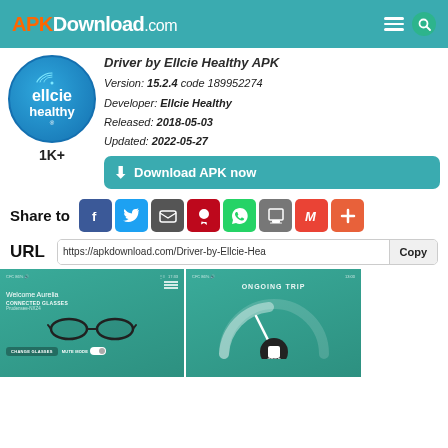APKDownload.com
Driver by Ellcie Healthy APK
Version: 15.2.4 code 189952274
Developer: Ellcie Healthy
Released: 2018-05-03
Updated: 2022-05-27
[Figure (logo): Ellcie Healthy app logo — blue circle with ellcie healthy text and wifi signal icon]
1K+
Download APK now
Share to
URL  https://apkdownload.com/Driver-by-Ellcie-Hea  Copy
[Figure (screenshot): App screenshot 1: Connected glasses screen showing Welcome Aurelia, CONNECTED GLASSES, Prudensee-NXZ4, image of glasses, CHANGE GLASSES and MUTE MODE buttons]
[Figure (screenshot): App screenshot 2: ONGOING TRIP screen with speedometer gauge and STOP button]